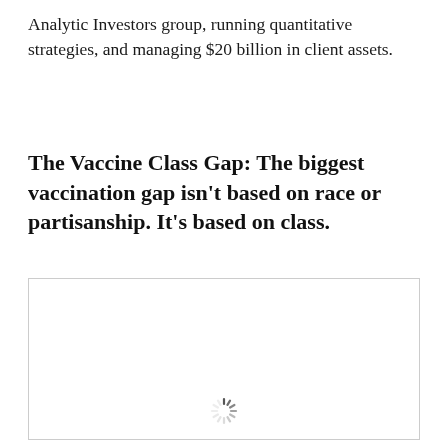Analytic Investors group, running quantitative strategies, and managing $20 billion in client assets.
The Vaccine Class Gap: The biggest vaccination gap isn't based on race or partisanship. It's based on class.
[Figure (other): A loading image placeholder with a spinning loader icon at the bottom center, bordered with a light gray rectangle box.]